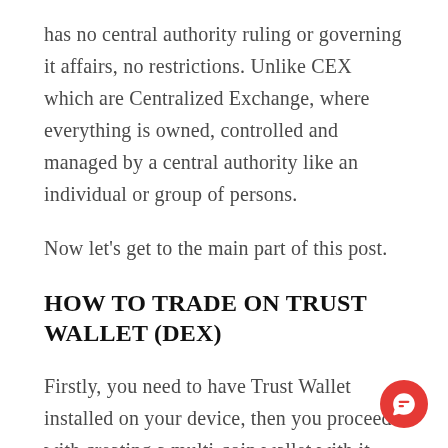has no central authority ruling or governing it affairs, no restrictions. Unlike CEX which are Centralized Exchange, where everything is owned, controlled and managed by a central authority like an individual or group of persons.
Now let's get to the main part of this post.
HOW TO TRADE ON TRUST WALLET (DEX)
Firstly, you need to have Trust Wallet installed on your device, then you proceed with creating a multi-coin wallet with it.
Secondly, you need to have some BNB in your